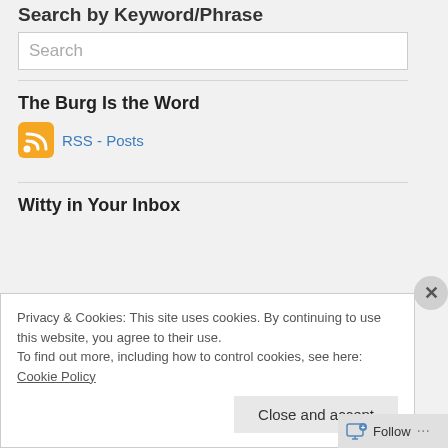Search by Keyword/Phrase
[Figure (other): Search input box with placeholder text 'Search']
The Burg Is the Word
[Figure (other): RSS feed icon (orange square with white wifi-like signal symbol)]
RSS - Posts
Witty in Your Inbox
Privacy & Cookies: This site uses cookies. By continuing to use this website, you agree to their use.
To find out more, including how to control cookies, see here: Cookie Policy
Close and accept
Follow